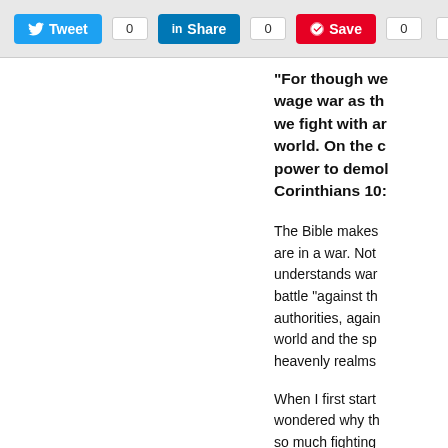[Figure (screenshot): Social sharing toolbar with Tweet, Share, Save buttons and RSS icon, each showing count of 0]
“For though we wage war as the world. On the contrary, we fight with arms that have power to demolish… Corinthians 10:
The Bible makes clear that we are in a war. Not the kind one understands war, battle “against the authorities, against the world and the spiritual forces in heavenly realms…
When I first started… wondered why there was so much fighting… much of the Old… was to come in t… are also many ba… don't wrestle aga…